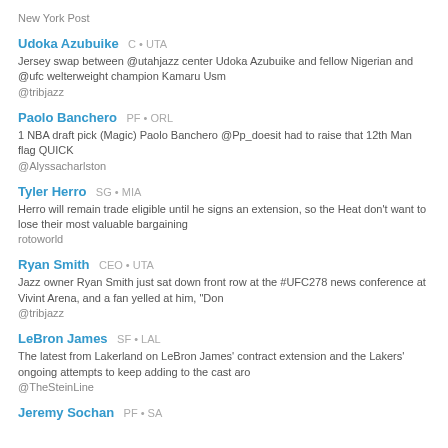New York Post
Udoka Azubuike  C • UTA
Jersey swap between @utahjazz center Udoka Azubuike and fellow Nigerian and @ufc welterweight champion Kamaru Usm
@tribjazz
Paolo Banchero  PF • ORL
1 NBA draft pick (Magic) Paolo Banchero @Pp_doesit had to raise that 12th Man flag QUICK
@Alyssacharlston
Tyler Herro  SG • MIA
Herro will remain trade eligible until he signs an extension, so the Heat don't want to lose their most valuable bargaining
rotoworld
Ryan Smith  CEO • UTA
Jazz owner Ryan Smith just sat down front row at the #UFC278 news conference at Vivint Arena, and a fan yelled at him, "Don
@tribjazz
LeBron James  SF • LAL
The latest from Lakerland on LeBron James' contract extension and the Lakers' ongoing attempts to keep adding to the cast aro
@TheSteinLine
Jeremy Sochan  PF • SA